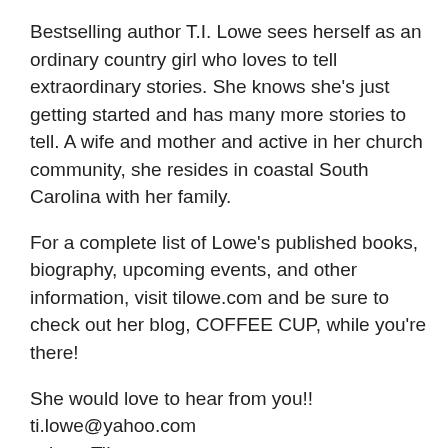Bestselling author T.I. Lowe sees herself as an ordinary country girl who loves to tell extraordinary stories. She knows she's just getting started and has many more stories to tell. A wife and mother and active in her church community, she resides in coastal South Carolina with her family.
For a complete list of Lowe's published books, biography, upcoming events, and other information, visit tilowe.com and be sure to check out her blog, COFFEE CUP, while you're there!
She would love to hear from you!!
ti.lowe@yahoo.com
twitter: TiLowe
facebook: T.I. Lowe